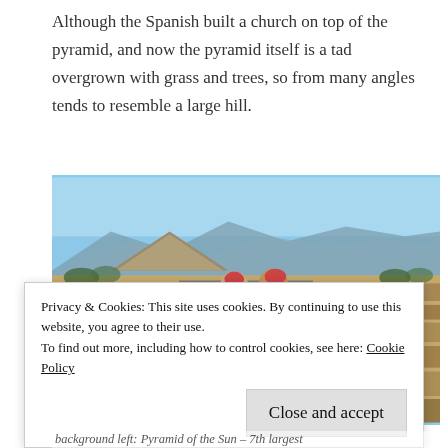Although the Spanish built a church on top of the pyramid, and now the pyramid itself is a tad overgrown with grass and trees, so from many angles tends to resemble a large hill.
[Figure (photo): Two men standing on a wide stone avenue at Teotihuacan archaeological site; behind them is the Pyramid of the Sun on the left, mountains in the background, with ancient stone structures lining both sides of the avenue under a clear blue sky.]
Privacy & Cookies: This site uses cookies. By continuing to use this website, you agree to their use. To find out more, including how to control cookies, see here: Cookie Policy
Close and accept
background left: Pyramid of the Sun – 7th largest